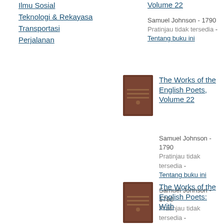Ilmu Sosial
Teknologi & Rekayasa
Transportasi
Perjalanan
The Works of the English Poets, Volume 22
Samuel Johnson - 1790
Pratinjau tidak tersedia - Tentang buku ini
[Figure (photo): Book cover of The Works of the English Poets, Volume 22 - brown cover]
The Works of the English Poets, Volume 22
Samuel Johnson - 1790
Pratinjau tidak tersedia - Tentang buku ini
[Figure (photo): Book cover of The Works of the English Poets - brown cover]
The Works of the English Poets: With